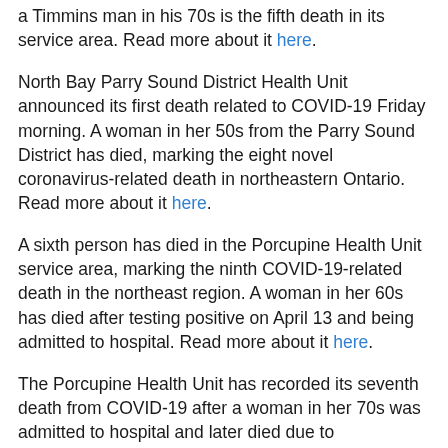a Timmins man in his 70s is the fifth death in its service area. Read more about it here.
North Bay Parry Sound District Health Unit announced its first death related to COVID-19 Friday morning. A woman in her 50s from the Parry Sound District has died, marking the eight novel coronavirus-related death in northeastern Ontario. Read more about it here.
A sixth person has died in the Porcupine Health Unit service area, marking the ninth COVID-19-related death in the northeast region. A woman in her 60s has died after testing positive on April 13 and being admitted to hospital. Read more about it here.
The Porcupine Health Unit has recorded its seventh death from COVID-19 after a woman in her 70s was admitted to hospital and later died due to complications related to the virus. The woman tested positive for COVID-19 on April 21. Public health officials say this case